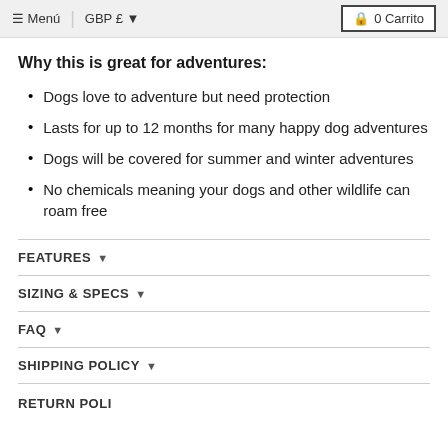≡ Menú | GBP £ ▼  🔒 0 Carrito
Why this is great for adventures:
Dogs love to adventure but need protection
Lasts for up to 12 months for many happy dog adventures
Dogs will be covered for summer and winter adventures
No chemicals meaning your dogs and other wildlife can roam free
FEATURES ▾
SIZING & SPECS ▾
FAQ ▾
SHIPPING POLICY ▾
RETURN POLICY